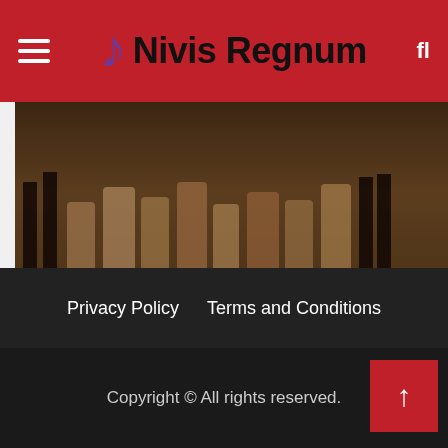Nivis Regnum
[Figure (photo): Theatre performers in period costumes on stage, lower bodies visible, warm brown tones]
Musical class
Bay Street's 'Ragtime' is a masterclass in musical theater
6 days ago  Robert R. Pier
Privacy Policy   Terms and Conditions
Copyright © All rights reserved.